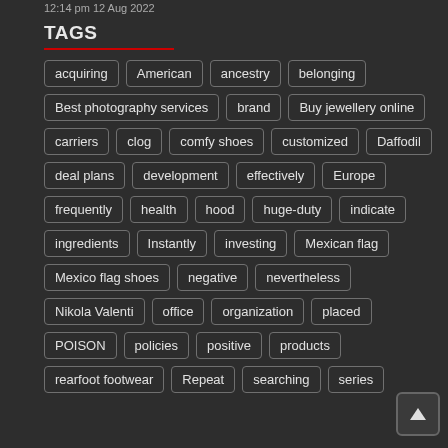12:14 pm 12 Aug 2022
TAGS
acquiring
American
ancestry
belonging
Best photography services
brand
Buy jewellery online
carriers
clog
comfy shoes
customized
Daffodil
deal plans
development
effectively
Europe
frequently
health
hood
huge-duty
indicate
ingredients
Instantly
investing
Mexican flag
Mexico flag shoes
negative
nevertheless
Nikola Valenti
office
organization
placed
POISON
policies
positive
products
rearfoot footwear
Repeat
searching
series